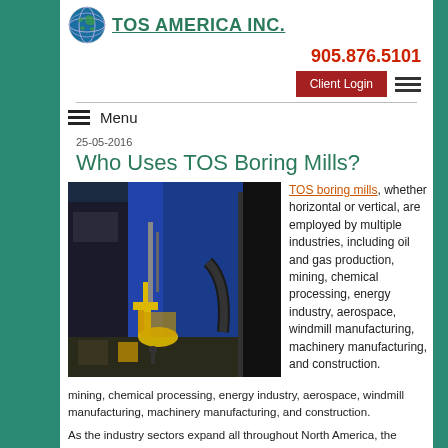TOS AMERICA INC.
905.876.5101
Client Login
Menu
Who Uses TOS Boring Mills?
25-05-2016
[Figure (photo): Industrial boring mill machine in a factory setting showing large blue vertical machinery with yellow structural components and workers area]
TOS boring mills, whether horizontal or vertical, are employed by multiple industries, including oil and gas production, mining, chemical processing, energy industry, aerospace, windmill manufacturing, machinery manufacturing, and construction.
As the industry sectors expand all throughout North America, the demand for boring and milling also expands. A lot of machine shops that deal with boring machines are repair